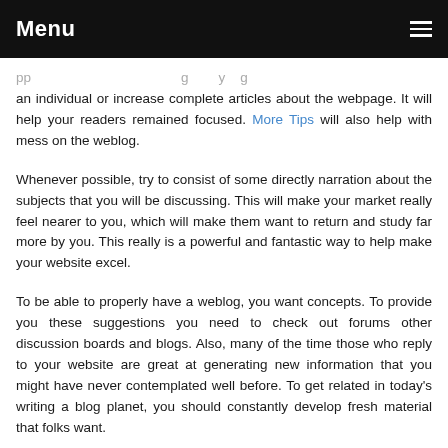Menu
an individual or increase complete articles about the webpage. It will help your readers remained focused. More Tips will also help with mess on the weblog.
Whenever possible, try to consist of some directly narration about the subjects that you will be discussing. This will make your market really feel nearer to you, which will make them want to return and study far more by you. This really is a powerful and fantastic way to help make your website excel.
To be able to properly have a weblog, you want concepts. To provide you these suggestions you need to check out forums other discussion boards and blogs. Also, many of the time those who reply to your website are great at generating new information that you might have never contemplated well before. To get related in today's writing a blog planet, you should constantly develop fresh material that folks want.